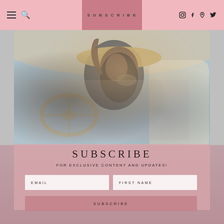≡  🔍    SUBSCRIBE    Instagram  Facebook  Pinterest  Twitter
[Figure (photo): A woman wearing a wide-brim straw hat sits in a vintage car interior, raising her hand, dressed in dark clothing with a leopard-print scarf.]
SUBSCRIBE
FOR EXCLUSIVE CONTENT AND UPDATES!
EMAIL
FIRST NAME
SUBSCRIBE